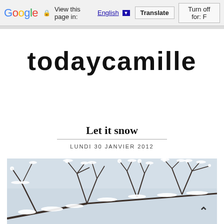Google  View this page in: English [▼]  Translate  Turn off for: F
todaycamille
Let it snow
LUNDI 30 JANVIER 2012
[Figure (photo): Snow-covered bare tree branches against a pale gray winter sky — a photograph of winter scenery with snow clinging to thin dark branches.]